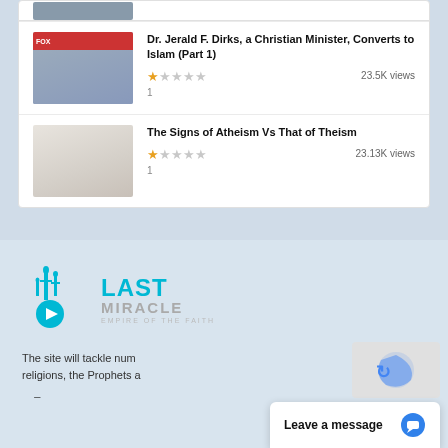[Figure (screenshot): Partial video thumbnail at top (cropped)]
Dr. Jerald F. Dirks, a Christian Minister, Converts to Islam (Part 1)
23.5K views | 1 rating star
The Signs of Atheism Vs That of Theism
23.13K views | 1 rating star
[Figure (logo): Last Miracle - Empire of the Faith logo with minaret icon and play button]
The site will tackle num religions, the Prophets a
Leave a message